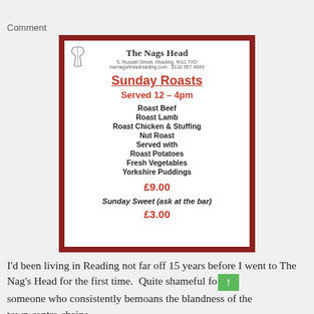Comment
[Figure (photo): A photo of a restaurant menu from The Nags Head, 5 Russell Street, Reading, RG1 7XD. The menu shows Sunday Roasts served 12–4pm with options: Roast Beef, Roast Lamb, Roast Chicken & Stuffing, Nut Roast. Served with Roast Potatoes, Fresh Vegetables, Yorkshire Puddings. Price: £9.00. Sunday Sweet (ask at the bar): £3.00.]
I'd been living in Reading not far off 15 years before I went to The Nag's Head for the first time.  Quite shameful for someone who consistently bemoans the blandness of the town centre chains.